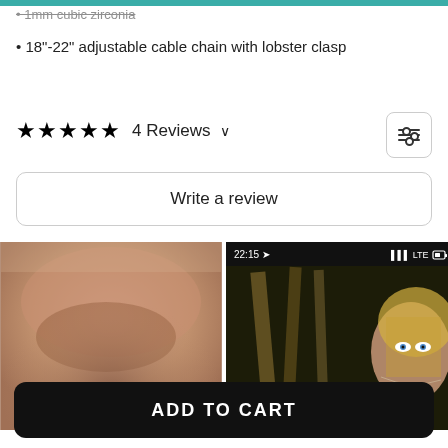1mm cubic zirconia
18"-22" adjustable cable chain with lobster clasp
★★★★★ 4 Reviews ∨
Write a review
[Figure (photo): Close-up photo of a person's neck/chin area wearing a delicate necklace]
[Figure (screenshot): Screenshot from a phone (22:15, LTE signal) showing a woman with blonde hair wearing a necklace]
ADD TO CART